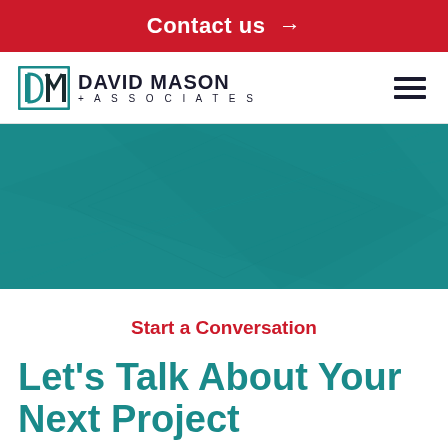Contact us →
[Figure (logo): David Mason + Associates logo with stylized DM monogram icon in teal/dark colors]
[Figure (illustration): Teal/dark green hero banner with subtle geometric overlay pattern]
Start a Conversation
Let's Talk About Your Next Project